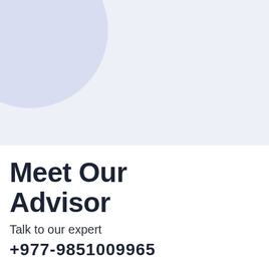[Figure (illustration): Light purple/lavender circular blob decoration in the top-left corner of the page]
Mr. Raju Aryal
Meet Our Advisor
Talk to our expert
+977-9851009965